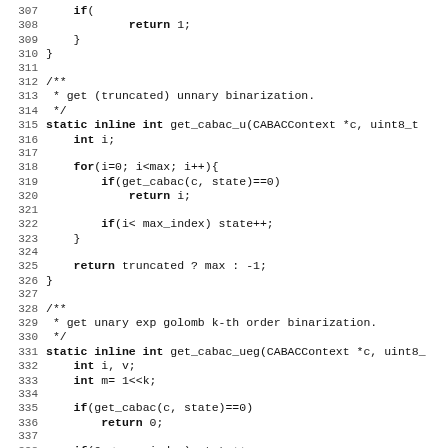Source code listing, lines 307-339, showing C functions get_cabac_u and get_cabac_ueg for CABAC binarization.